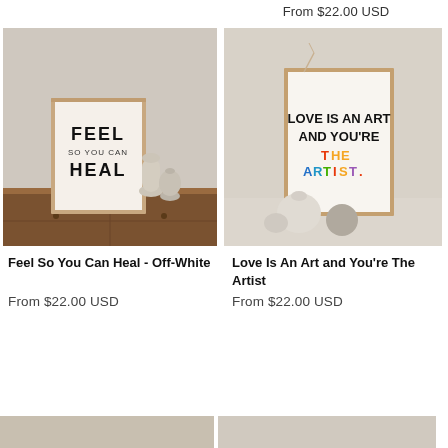From $22.00 USD
[Figure (photo): Framed art print on a wooden sideboard reading FEEL SO YOU CAN HEAL in black bold text on off-white background, with ceramic vases beside it]
Feel So You Can Heal - Off-White
From $22.00 USD
[Figure (photo): Framed colorful art print reading LOVE IS AN ART AND YOU'RE THE ARTIST in multicolor bold text on white background, with decorative vases]
Love Is An Art and You're The Artist
From $22.00 USD
[Figure (photo): Bottom strip showing partial product images]